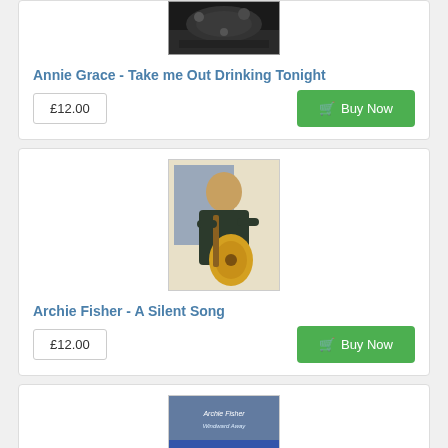[Figure (photo): Partial album/concert image at top of page (cropped)]
Annie Grace - Take me Out Drinking Tonight
£12.00
[Figure (photo): Photo of Archie Fisher, an older man playing acoustic guitar, seated in front of a painting]
Archie Fisher - A Silent Song
£12.00
[Figure (photo): Album cover for Archie Fisher - Windward Away, showing a seascape]